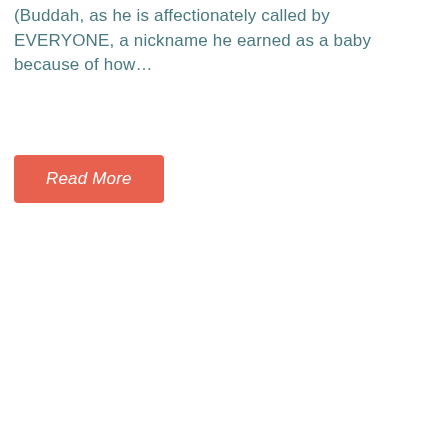(Buddah, as he is affectionately called by EVERYONE, a nickname he earned as a baby because of how...
Read More